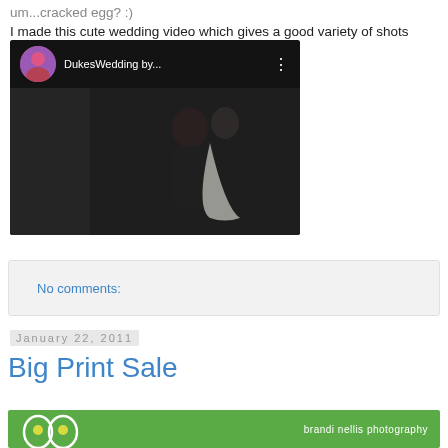um...cracked egg? :)
I made this cute wedding video which gives a good variety of shots through out the day.
[Figure (screenshot): YouTube video embed showing DukesWedding by... with a wedding couple in background, dark theme with red play button]
No comments:
January 22, 2011
Big Print Sale
[Figure (screenshot): Bottom portion of a green banner for brandi nellis photography]